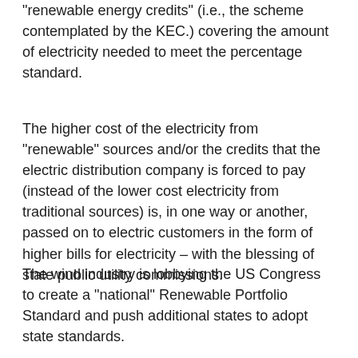“renewable energy credits” (i.e., the scheme contemplated by the KEC.) covering the amount of electricity needed to meet the percentage standard.
The higher cost of the electricity from “renewable” sources and/or the credits that the electric distribution company is forced to pay (instead of the lower cost electricity from traditional sources) is, in one way or another, passed on to electric customers in the form of higher bills for electricity – with the blessing of state public utility commissions.
The wind industry is lobbying the US Congress to create a “national” Renewable Portfolio Standard and push additional states to adopt state standards.